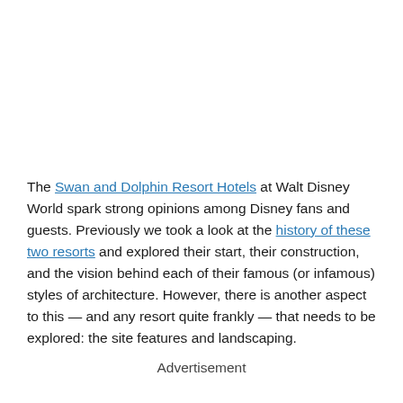The Swan and Dolphin Resort Hotels at Walt Disney World spark strong opinions among Disney fans and guests. Previously we took a look at the history of these two resorts and explored their start, their construction, and the vision behind each of their famous (or infamous) styles of architecture. However, there is another aspect to this — and any resort quite frankly — that needs to be explored: the site features and landscaping.
Advertisement